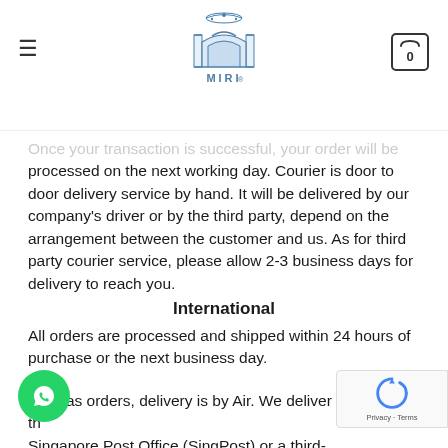MIRI logo with hamburger menu and cart icon
Once your transaction is successful, your order will be processed on the next working day. Courier is door to door delivery service by hand. It will be delivered by our company's driver or by the third party, depend on the arrangement between the customer and us. As for third party courier service, please allow 2-3 business days for delivery to reach you.
International
All orders are processed and shipped within 24 hours of purchase or the next business day.
verseas orders, delivery is by Air. We deliver th Singapore Post Office (SingPost) or a third-party